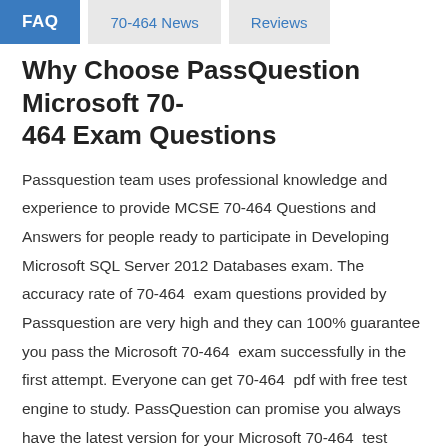FAQ | 70-464 News | Reviews
Why Choose PassQuestion Microsoft 70-464 Exam Questions
Passquestion team uses professional knowledge and experience to provide MCSE 70-464 Questions and Answers for people ready to participate in Developing Microsoft SQL Server 2012 Databases exam. The accuracy rate of 70-464 exam questions provided by Passquestion are very high and they can 100% guarantee you pass the Microsoft 70-464 exam successfully in the first attempt. Everyone can get 70-464 pdf with free test engine to study. PassQuestion can promise you always have the latest version for your Microsoft 70-464 test preparation and